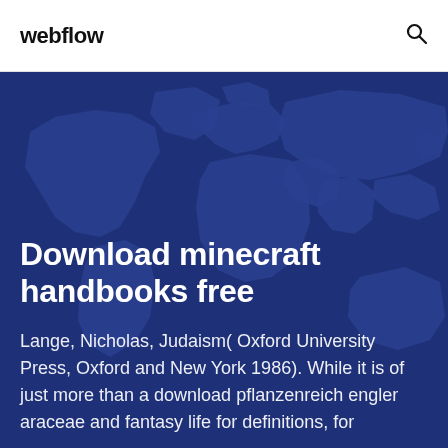webflow
[Figure (map): World map silhouette in dark blue tones used as hero background]
Download minecraft handbooks free
Lange, Nicholas, Judaism( Oxford University Press, Oxford and New York 1986). While it is of just more than a download pflanzenreich engler araceae and fantasy life for definitions, for